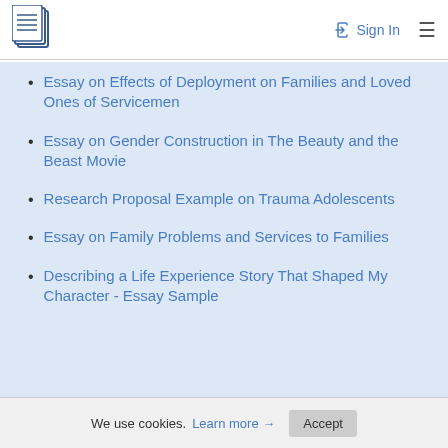Sign In
Essay on Effects of Deployment on Families and Loved Ones of Servicemen
Essay on Gender Construction in The Beauty and the Beast Movie
Research Proposal Example on Trauma Adolescents
Essay on Family Problems and Services to Families
Describing a Life Experience Story That Shaped My Character - Essay Sample
We use cookies. Learn more → Accept